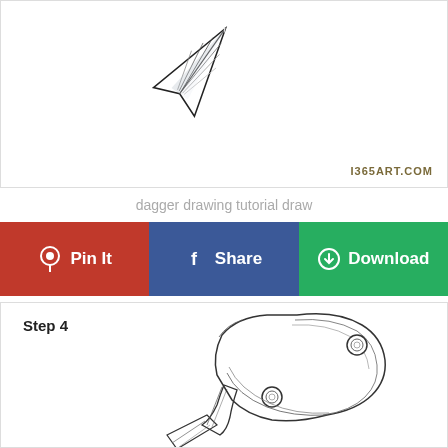[Figure (illustration): Partial illustration of a dagger/knife tip pointing diagonally, black and white line drawing with shading, on white background. Watermark text I365ART.COM in lower right.]
dagger drawing tutorial draw
[Figure (infographic): Three social sharing buttons: red Pin It button with Pinterest logo, blue Share button with Facebook logo, green Download button with download icon.]
[Figure (illustration): Step 4 drawing tutorial: black and white line drawing of a knife handle/grip with two circular rivets, detailed linework showing handle contours and bolsters, on white background.]